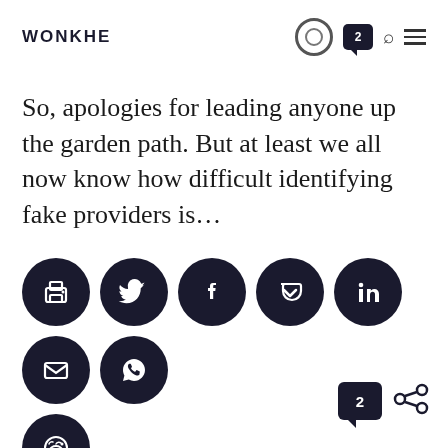WONKHE
So, apologies for leading anyone up the garden path. But at least we all now know how difficult identifying fake providers is...
[Figure (infographic): Row of 7 dark navy circular social share buttons: print, Twitter, Facebook, Pocket, LinkedIn, email, WhatsApp. Below, one more circle with Reddit icon.]
[Figure (infographic): Bottom right: comment bubble with number 2 and a share icon]